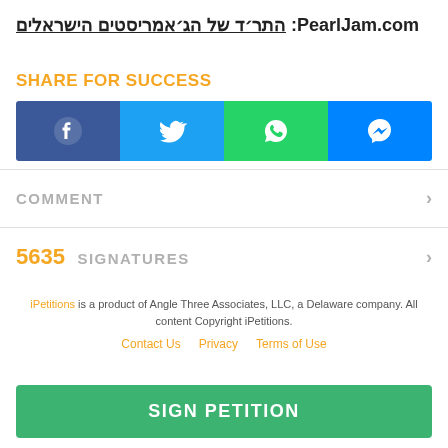PearlJam.com: התרד של הגאמריסטים הישראלים
SHARE FOR SUCCESS
[Figure (infographic): Social sharing buttons row: Facebook (blue), Twitter (light blue), WhatsApp (green), Messenger (blue) with their respective icons]
COMMENT
5635 SIGNATURES
iPetitions is a product of Angle Three Associates, LLC, a Delaware company. All content Copyright iPetitions.
Contact Us   Privacy   Terms of Use
SIGN PETITION